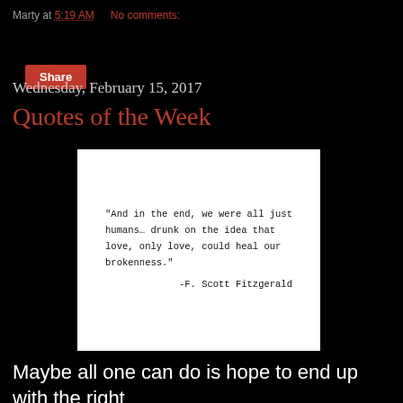Marty at 5:19 AM    No comments:
Share
Wednesday, February 15, 2017
Quotes of the Week
[Figure (photo): White card with typewriter-font quote: "And in the end, we were all just humans… drunk on the idea that love, only love, could heal our brokenness." -F. Scott Fitzgerald]
Maybe all one can do is hope to end up with the right regrets.